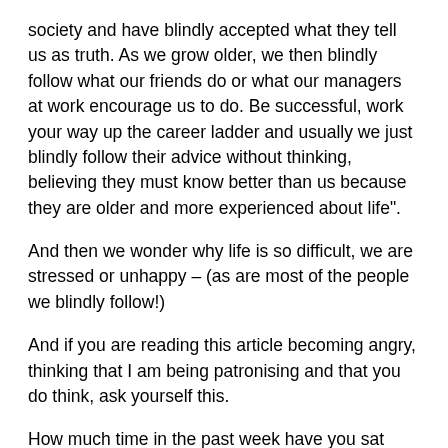society and have blindly accepted what they tell us as truth. As we grow older, we then blindly follow what our friends do or what our managers at work encourage us to do. Be successful, work your way up the career ladder and usually we just blindly follow their advice without thinking, believing they must know better than us because they are older and more experienced about life".
And then we wonder why life is so difficult, we are stressed or unhappy – (as are most of the people we blindly follow!)
And if you are reading this article becoming angry, thinking that I am being patronising and that you do think, ask yourself this.
How much time in the past week have you sat down, in silence, without a phone, TV, tablet, music etc and spent some time deeply contemplating who you are, what you